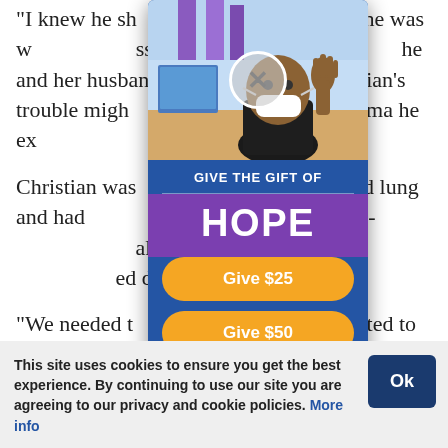“I knew he sh[ould] [run] more than he was [having is]sues breathing,” M[isti said. S]he and her husband initi[ally thought Ch]ristian’s trouble migh[t be related to th]e lung trauma he ex[perienced at birt]h.
Christian was [diagnosed wi]th a collapsed lung and had [surgery at Ch]ildren’s Presbyterian-[St. Luke’s Medic]al Center in Denver. His o[xygen level dropp]ed during the flight.
“We needed t[o know if this] was not related to his [lung condition,”] Misti said.
She took Chri[stian to a pedia]trician in northern Wyo[ming, and the d]octor agreed it would be w[ise to consult ex]perts at National Jewi[sh Health.]
[Figure (photo): Donation modal popup overlay with photo of a child wearing a mask in a classroom, a close button, 'GIVE THE GIFT OF HOPE' text, and donation buttons for $25, $50, $100, $250 in orange on a dark blue background.]
This site uses cookies to ensure you get the best experience. By continuing to use our site you are agreeing to our privacy and cookie policies. More info